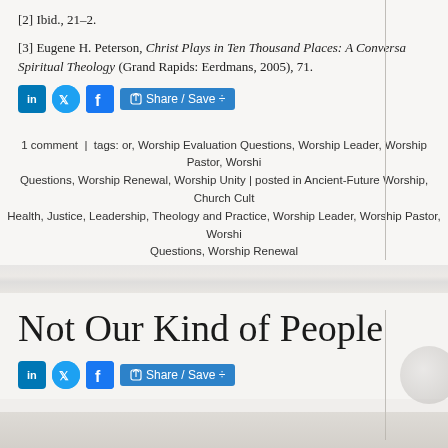[2] Ibid., 21–2.
[3] Eugene H. Peterson, Christ Plays in Ten Thousand Places: A Conversation in Spiritual Theology (Grand Rapids: Eerdmans, 2005), 71.
1 comment  |  tags: or, Worship Evaluation Questions, Worship Leader, Worship Pastor, Worship Questions, Worship Renewal, Worship Unity | posted in Ancient-Future Worship, Church Culture Health, Justice, Leadership, Theology and Practice, Worship Leader, Worship Pastor, Worship Questions, Worship Renewal
Not Our Kind of People